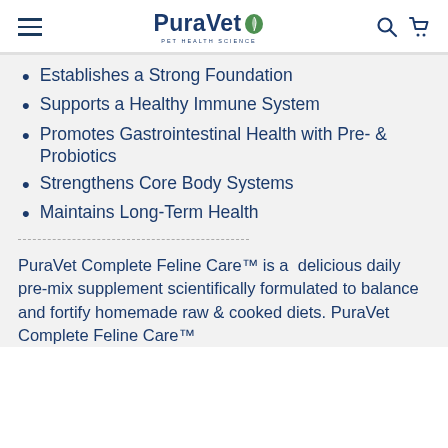PuraVet PET HEALTH SCIENCE
Establishes a Strong Foundation
Supports a Healthy Immune System
Promotes Gastrointestinal Health with Pre- & Probiotics
Strengthens Core Body Systems
Maintains Long-Term Health
PuraVet Complete Feline Care™ is a  delicious daily pre-mix supplement scientifically formulated to balance and fortify homemade raw & cooked diets. PuraVet Complete Feline Care™ ...